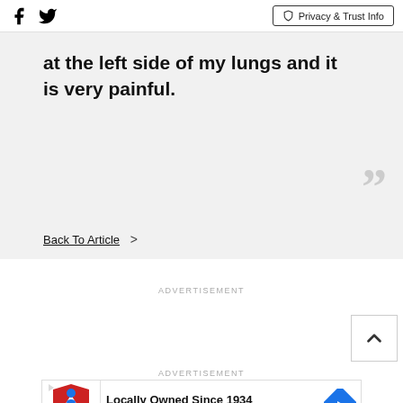Facebook Twitter | Privacy & Trust Info
at the left side of my lungs and it is very painful.
Back To Article >
ADVERTISEMENT
ADVERTISEMENT
[Figure (other): Advertisement banner: Vito Services Plumbing, Heating - Locally Owned Since 1934]